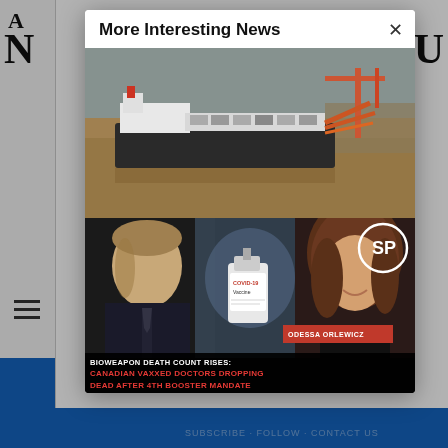More Interesting News
[Figure (photo): Aerial view of a large cargo/tanker ship docked at a port with orange cranes visible]
[Figure (screenshot): News segment thumbnail with 'SP' logo, a man in suit, a COVID-19 vaccine bottle, a woman named Odessa Orlewicz, and text: 'BIOWEAPON DEATH COUNT RISES: CANADIAN VAXXED DOCTORS DROPPING DEAD AFTER 4TH BOOSTER MANDATE']